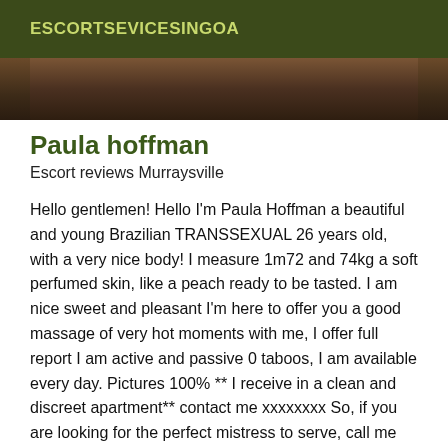ESCORTSEVICESINGOA
[Figure (photo): Partial photo of a person, showing the lower portion, cropped at top and bottom, dark brown tones]
Paula hoffman
Escort reviews Murraysville
Hello gentlemen! Hello I'm Paula Hoffman a beautiful and young Brazilian TRANSSEXUAL 26 years old, with a very nice body! I measure 1m72 and 74kg a soft perfumed skin, like a peach ready to be tasted. I am nice sweet and pleasant I'm here to offer you a good massage of very hot moments with me, I offer full report I am active and passive 0 taboos, I am available every day. Pictures 100% ** I receive in a clean and discreet apartment** contact me xxxxxxxx So, if you are looking for the perfect mistress to serve, call me and you won't regret it and remember it for the rest of your life, I promise! Perfect for beginners I will be gentle and kind to you. I am open to all and to the most naughty games. Let me make him come, I will. Notice to the